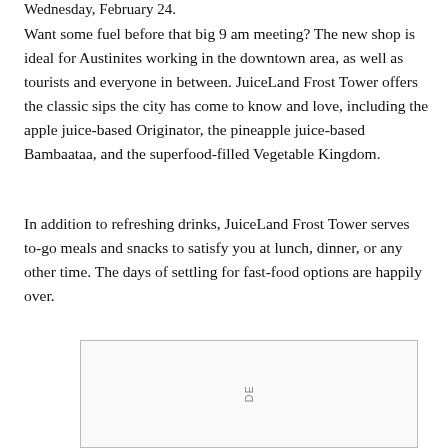Wednesday, February 24.
Want some fuel before that big 9 am meeting? The new shop is ideal for Austinites working in the downtown area, as well as tourists and everyone in between. JuiceLand Frost Tower offers the classic sips the city has come to know and love, including the apple juice-based Originator, the pineapple juice-based Bambaataa, and the superfood-filled Vegetable Kingdom.
In addition to refreshing drinks, JuiceLand Frost Tower serves to-go meals and snacks to satisfy you at lunch, dinner, or any other time. The days of settling for fast-food options are happily over.
[Figure (other): Advertisement placeholder box with vertical text 'DE']